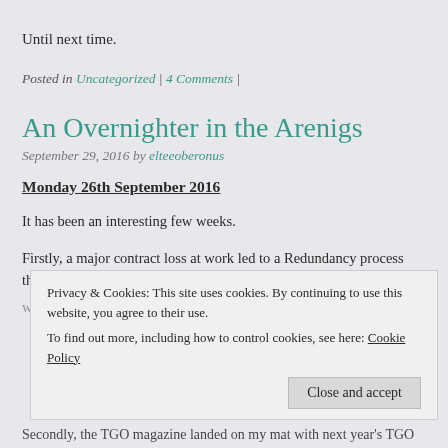Until next time.
Posted in Uncategorized | 4 Comments |
An Overnighter in the Arenigs
September 29, 2016 by elteeoberonus
Monday 26th September 2016
It has been an interesting few weeks.
Firstly, a major contract loss at work led to a Redundancy process through
Privacy & Cookies: This site uses cookies. By continuing to use this website, you agree to their use.
To find out more, including how to control cookies, see here: Cookie Policy
Close and accept
Secondly, the TGO magazine landed on my mat with next year's TGO